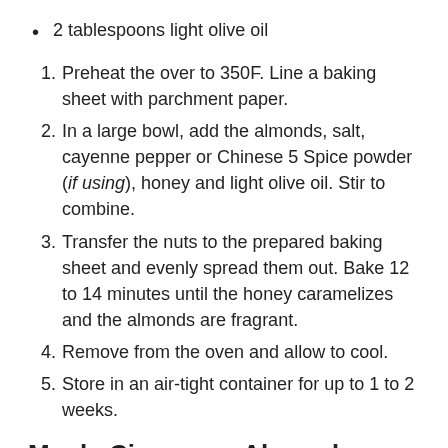2 tablespoons light olive oil
Preheat the over to 350F. Line a baking sheet with parchment paper.
In a large bowl, add the almonds, salt, cayenne pepper or Chinese 5 Spice powder (if using), honey and light olive oil. Stir to combine.
Transfer the nuts to the prepared baking sheet and evenly spread them out. Bake 12 to 14 minutes until the honey caramelizes and the almonds are fragrant.
Remove from the oven and allow to cool.
Store in an air-tight container for up to 1 to 2 weeks.
Maple Cinnamon Almonds